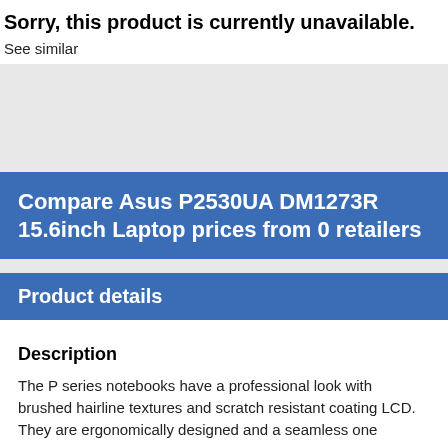Sorry, this product is currently unavailable.
See similar
[Figure (other): Grey placeholder image area]
Compare Asus P2530UA DM1273R 15.6inch Laptop prices from 0 retailers
Product details
Description
The P series notebooks have a professional look with brushed hairline textures and scratch resistant coating LCD. They are ergonomically designed and a seamless one